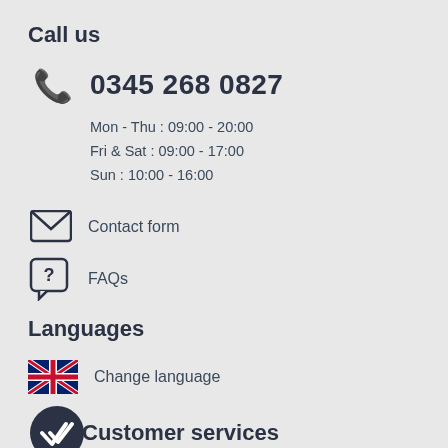Call us
0345 268 0827
Mon - Thu : 09:00 - 20:00
Fri & Sat : 09:00 - 17:00
Sun : 10:00 - 16:00
Contact form
FAQs
Languages
Change language
Customer services
Charity Partners